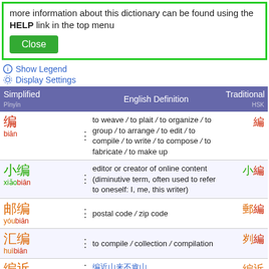more information about this dictionary can be found using the HELP link in the top menu
Close
Show Legend
Display Settings
| Simplified
Pīnyīn | English Definition | Traditional
HSK |
| --- | --- | --- |
| □ biān | to weave / to plait / to organize / to group / to arrange / to edit / to compile / to write / to compose / to fabricate / to make up | □ |
| □□ xiǎobiān | editor or creator of online content (diminutive term, often used to refer to oneself: I, me, this writer) | □□ |
| □□ yóubiān | postal code / zip code | □□ |
| □□ huìbiān | to compile / collection / compilation | □□ |
| □□ | □□□□□ | □□ |